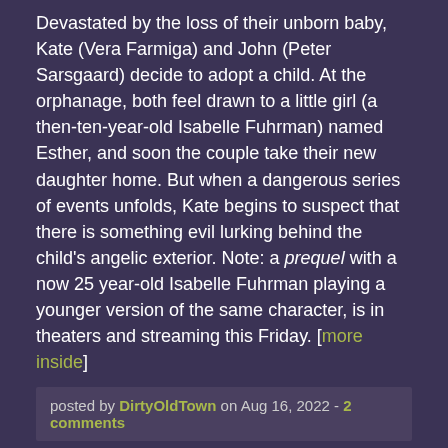Devastated by the loss of their unborn baby, Kate (Vera Farmiga) and John (Peter Sarsgaard) decide to adopt a child. At the orphanage, both feel drawn to a little girl (a then-ten-year-old Isabelle Fuhrman) named Esther, and soon the couple take their new daughter home. But when a dangerous series of events unfolds, Kate begins to suspect that there is something evil lurking behind the child's angelic exterior. Note: a prequel with a now 25 year-old Isabelle Fuhrman playing a younger version of the same character, is in theaters and streaming this Friday. [more inside]
posted by DirtyOldTown on Aug 16, 2022 - 2 comments
Movie: Sorority Babes in the Slimeball Bowl-O-Rama
As part of an initiation, sorority boss Babs (Robin Rochelle) orders pledges (Michelle Bauer, Brinke Stevens) to break into